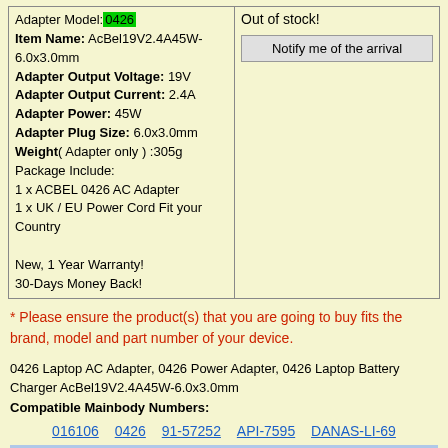| Adapter Model: 0426
Item Name: AcBel19V2.4A45W-6.0x3.0mm
Adapter Output Voltage: 19V
Adapter Output Current: 2.4A
Adapter Power: 45W
Adapter Plug Size: 6.0x3.0mm
Weight( Adapter only ) :305g
Package Include:
1 x ACBEL 0426 AC Adapter
1 x UK / EU Power Cord Fit your Country

New, 1 Year Warranty!
30-Days Money Back! | Out of stock!
Notify me of the arrival |
* Please ensure the product(s) that you are going to buy fits the brand, model and part number of your device.
0426 Laptop AC Adapter, 0426 Power Adapter, 0426 Laptop Battery Charger AcBel19V2.4A45W-6.0x3.0mm
Compatible Mainbody Numbers:
016106   0426   91-57252   API-7595   DANAS-LI-69
View acbel 19v 2.4a ac adapter All Details
Do not use low quality ac adapter?
0426 ac adapter not working?